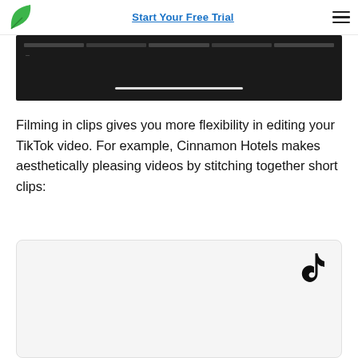Start Your Free Trial
[Figure (screenshot): Dark video player screenshot strip showing a timeline editor with dark background and a white progress/scrubber bar near the bottom]
Filming in clips gives you more flexibility in editing your TikTok video. For example, Cinnamon Hotels makes aesthetically pleasing videos by stitching together short clips:
[Figure (screenshot): TikTok embedded content box with light gray background and TikTok logo icon in top right corner]